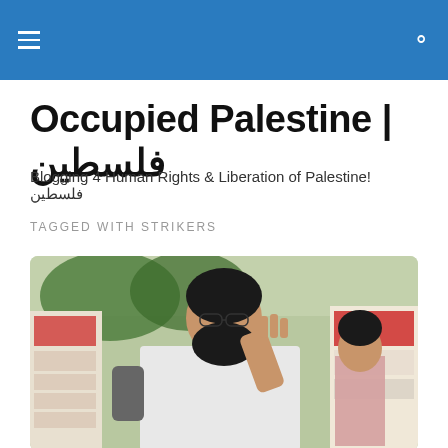Occupied Palestine | فلسطين (site header bar with hamburger menu and search icon)
Occupied Palestine | فلسطين
Blogging 4 Human Rights & Liberation of Palestine! فلسطين
TAGGED WITH STRIKERS
[Figure (photo): A bearded man in a white shirt raising his hand, standing in front of protest posters with Arabic writing. Another person visible in the background.]